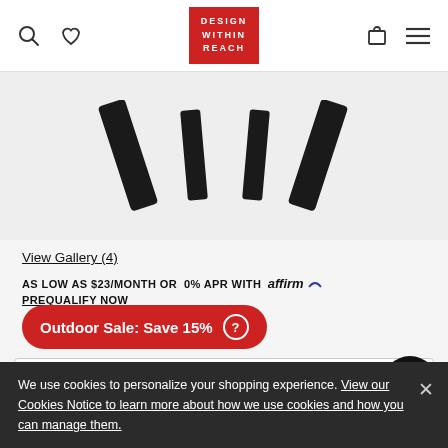Design Within Reach — navigation header with search, wishlist, logo, cart, menu icons
[Figure (photo): Close-up product photo showing black angled table/chair legs on a light gray background]
View Gallery (4)
AS LOW AS $23/MONTH OR 0% APR WITH affirm PREQUALIFY NOW
Outdoor Sale: Save 15%
1 Color
Black
We use cookies to personalize your shopping experience. View our Cookies Notice to learn more about how we use cookies and how you can manage them.